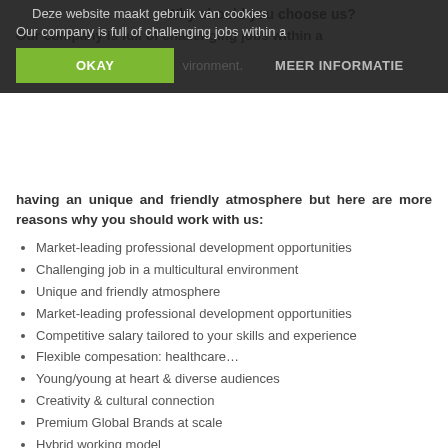Why should you choose us?
Deze website maakt gebruik van cookies
Our company is full of challenging jobs within a dynamic and international environment. Not only for having an unique and friendly atmosphere but here are more reasons why you should work with us:
Market-leading professional development opportunities
Challenging job in a multicultural environment
Unique and friendly atmosphere
Market-leading professional development opportunities
Competitive salary tailored to your skills and experience
Flexible compesation: healthcare…
Young/young at heart & diverse audiences
Creativity & cultural connection
Premium Global Brands at scale
Hybrid working model